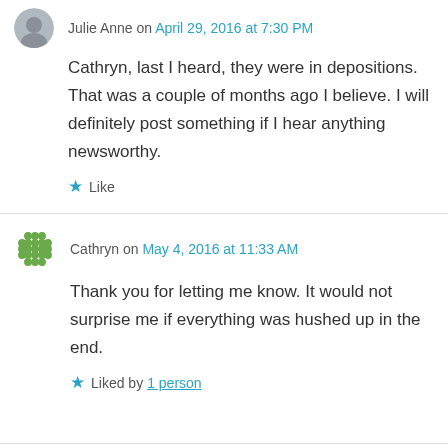Julie Anne on April 29, 2016 at 7:30 PM
Cathryn, last I heard, they were in depositions. That was a couple of months ago I believe. I will definitely post something if I hear anything newsworthy.
Like
Cathryn on May 4, 2016 at 11:33 AM
Thank you for letting me know. It would not surprise me if everything was hushed up in the end.
Liked by 1 person